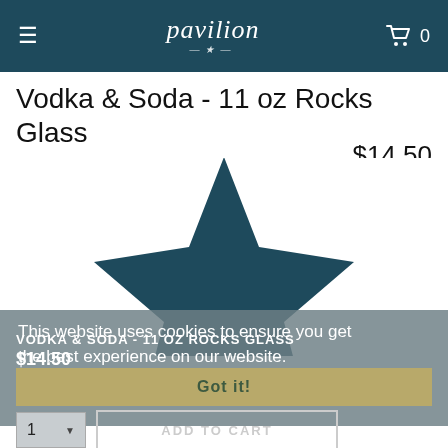pavilion — navigation header with hamburger menu and cart icon showing 0
Vodka & Soda - 11 oz Rocks Glass
$14.50
[Figure (illustration): Large dark teal/navy star shape on white background, product image placeholder]
This website uses cookies to ensure you get the best experience on our website.
Learn more
VODKA & SODA - 11 OZ ROCKS GLASS
$14.50
Got it!
1 ▾   ADD TO CART